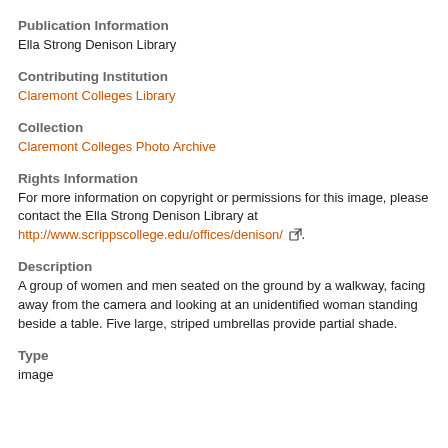Publication Information
Ella Strong Denison Library
Contributing Institution
Claremont Colleges Library
Collection
Claremont Colleges Photo Archive
Rights Information
For more information on copyright or permissions for this image, please contact the Ella Strong Denison Library at http://www.scrippscollege.edu/offices/denison/.
Description
A group of women and men seated on the ground by a walkway, facing away from the camera and looking at an unidentified woman standing beside a table. Five large, striped umbrellas provide partial shade.
Type
image